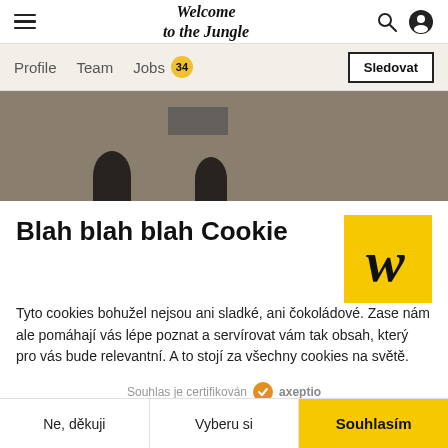Welcome to the Jungle — navigation bar with hamburger menu, logo, search and profile icons
Profile  Team  Jobs 34  Sledovat
[Figure (photo): Blurred dark office/workspace hero image with silhouettes of people at the bottom]
Blah blah blah Cookie
Tyto cookies bohužel nejsou ani sladké, ani čokoládové. Zase nám ale pomáhají vás lépe poznat a servírovat vám tak obsah, který pro vás bude relevantní. A to stojí za všechny cookies na světě.
Souhlas je certifikován  axeptio
Ne, děkuji   Vyberu si   Souhlasím